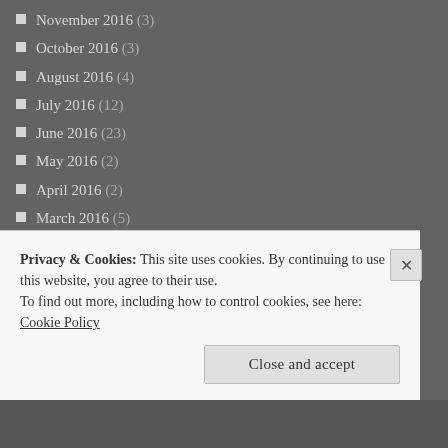November 2016 (3)
October 2016 (3)
August 2016 (4)
July 2016 (12)
June 2016 (23)
May 2016 (2)
April 2016 (2)
March 2016 (5)
February 2016 (8)
January 2016 (11)
December 2015 (9)
November 2015 (10)
October 2015 (3)
September 2015 (11)
August 2015 (12)
July 2015 (32)
June 2015 (9)
Privacy & Cookies: This site uses cookies. By continuing to use this website, you agree to their use.
To find out more, including how to control cookies, see here: Cookie Policy
Close and accept